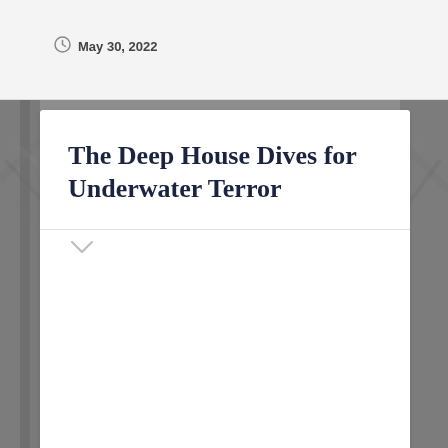May 30, 2022
The Deep House Dives for Underwater Terror